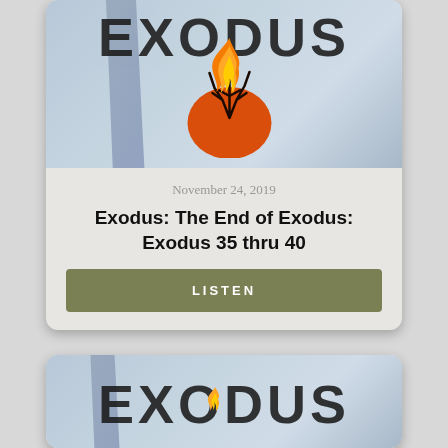[Figure (illustration): Exodus sermon series card image with dark bold EXODUS text, a diagonal slash graphic, and a flame/burning bush illustration on a grey-blue background]
November 24, 2019
Exodus: The End of Exodus: Exodus 35 thru 40
LISTEN
[Figure (illustration): Second Exodus sermon series card image showing the EXODUS title with slash and small flame, partially visible]